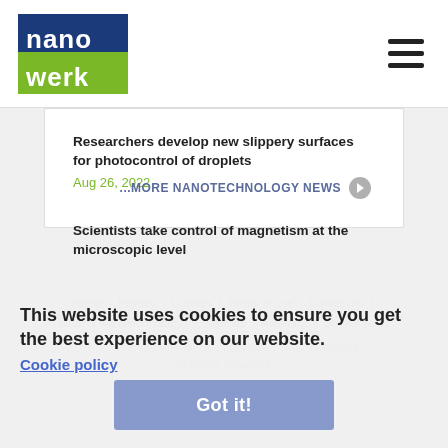[Figure (logo): Nanowerk logo — blue and green block letters on white background]
Researchers develop new slippery surfaces for photocontrol of droplets
Aug 26, 2022
Scientists take control of magnetism at the microscopic level
Aug 26, 2022
...MORE NANOTECHNOLOGY NEWS
This website uses cookies to ensure you get the best experience on our website.
Cookie policy
Home | Privacy | Cookies | Terms of use | Contact us | What is Nanotechnology? | Sitemap | Advertise | Submit news
The contents of this site are copyright © 2022 Nanowerk. All Rights Reserved.
Got it!